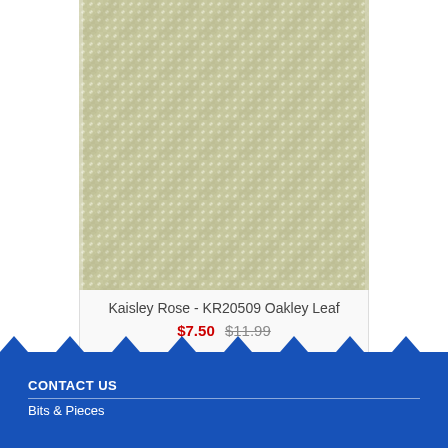[Figure (photo): Close-up of fabric swatch with olive/khaki green woven texture pattern (Kaisley Rose KR20509 Oakley Leaf)]
Kaisley Rose - KR20509 Oakley Leaf
$7.50 $11.99
< Previous Page  1  2  Next Page >
CONTACT US
Bits & Pieces